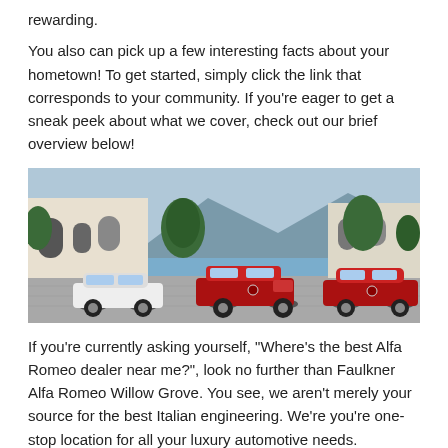rewarding.
You also can pick up a few interesting facts about your hometown! To get started, simply click the link that corresponds to your community. If you're eager to get a sneak peek about what we cover, check out our brief overview below!
[Figure (photo): Three Alfa Romeo vehicles parked side by side in front of a luxury villa with mountains and water in the background. From left to right: a white sports car, a red SUV, and a red sedan.]
If you're currently asking yourself, "Where's the best Alfa Romeo dealer near me?", look no further than Faulkner Alfa Romeo Willow Grove. You see, we aren't merely your source for the best Italian engineering. We're you're one-stop location for all your luxury automotive needs.
From our expert financing and leasing center to our F1-inspired service